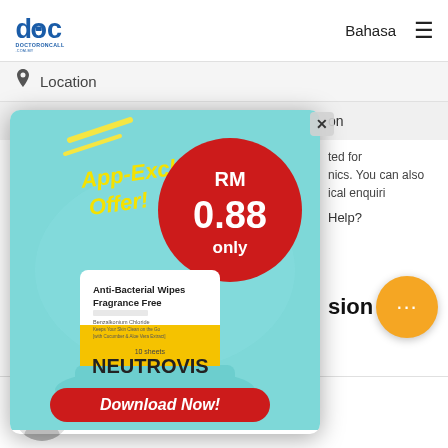DoctorOnCall | Bahasa ☰
Location
[Figure (infographic): App-Exclusive Offer advertisement for Neutrovis Anti-Bacterial Wipes Fragrance Free 10 sheets at RM 0.88 only. Red circle badge with price. Yellow product packaging on teal background. Red Download Now! button at bottom. X close button top right.]
ted for nics. You can also ical enquiri
Help?
sion
Dr Gary Lee Chin Keong